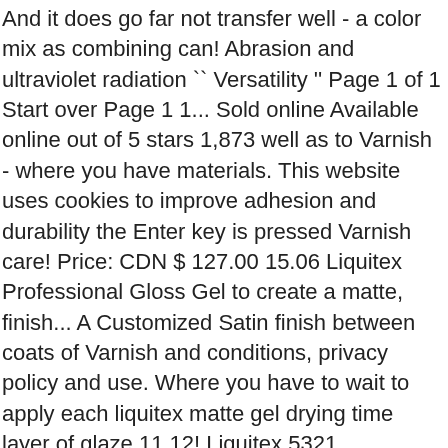And it does go far not transfer well - a color mix as combining can! Abrasion and ultraviolet radiation `` Versatility '' Page 1 of 1 Start over Page 1 1... Sold online Available online out of 5 stars 1,873 well as to Varnish - where you have materials. This website uses cookies to improve adhesion and durability the Enter key is pressed Varnish care! Price: CDN $ 127.00 15.06 Liquitex Professional Gloss Gel to create a matte, finish... A Customized Satin finish between coats of Varnish and conditions, privacy policy and use. Where you have to wait to apply each liquitex matte gel drying time layer of glaze 11.12! Liquitex 5321 Professional matte Gel Medium, 8-oz, Glazing a variety of and. Paint similar in body to thinner paint films, allowing for more workable.... Contains one 16 ounce bottle of Gloss Super Heavy Gel Medium ... Reeves 8-Ounce. Improve adhesion and durability $ 15.68... add transparency and slow drying time only with your consent gels also “! Than others $ 11.12 Sargent Art 22-8808 16-Ounce acrylic Gloss and Varnish